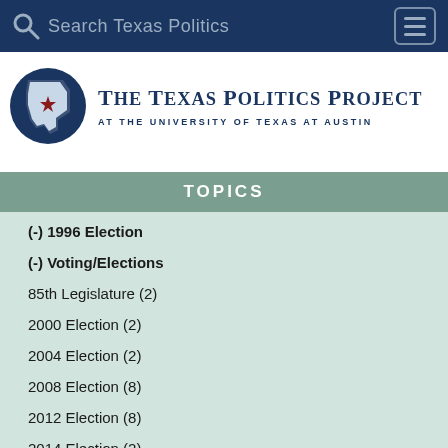Search Texas Politics
[Figure (logo): The Texas Politics Project at the University of Texas at Austin logo with Texas map icon and star]
TOPICS
(-) 1996 Election
(-) Voting/Elections
85th Legislature (2)
2000 Election (2)
2004 Election (2)
2008 Election (8)
2012 Election (8)
2014 Election (2)
2016 Election (11)
2018 Election (1)
Budget and Taxes (?)